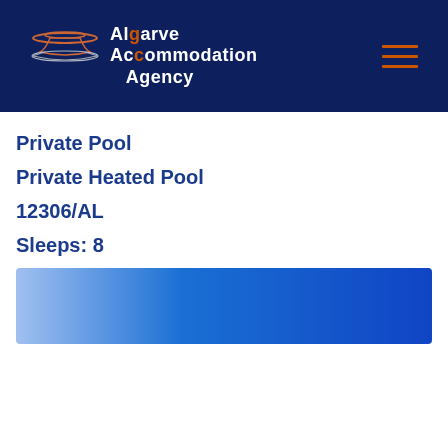[Figure (logo): Algarve Accommodation Agency logo with navy blue header background, white and orange text, a building/UFO shaped icon above the text, and a hamburger menu icon (three orange lines) on the right]
Private Pool
Private Heated Pool
12306/AL
Sleeps: 8
[Figure (other): A horizontal gradient bar ranging from light blue on the left to dark blue on the right]